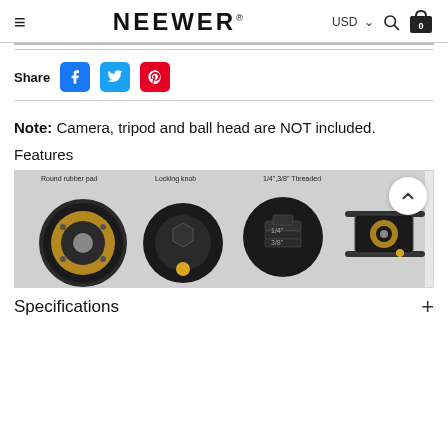NEEWER® USD 0
Share
Note: Camera, tripod and ball head are NOT included.
Features
[Figure (photo): Close-up photos of camera slider product components: Round rubber pad, Locking knob, 1/4",3/8" Threaded, and assembled view on rails.]
Specifications